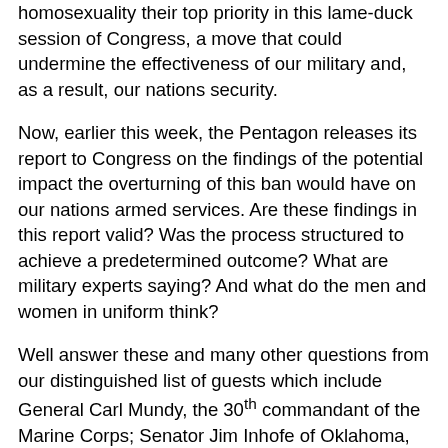homosexuality their top priority in this lame-duck session of Congress, a move that could undermine the effectiveness of our military and, as a result, our nations security.
Now, earlier this week, the Pentagon releases its report to Congress on the findings of the potential impact the overturning of this ban would have on our nations armed services. Are these findings in this report valid? Was the process structured to achieve a predetermined outcome? What are military experts saying? And what do the men and women in uniform think?
Well answer these and many other questions from our distinguished list of guests which include General Carl Mundy, the 30th commandant of the Marine Corps; Senator Jim Inhofe of Oklahoma, who is on the Senate Armed Services Committee; Brigadier General Douglas Lee, a former head of Army chaplains; and Lieutenant Colonel Bob Maginnis, Cathy Ruse, both senior fellows here at the Family Research Council.
And well also be joined by our own FRC Action vice president, Tom McClusky, and Army Sergeant Brian Fleming, also known as the blown-up guy. Youll want to